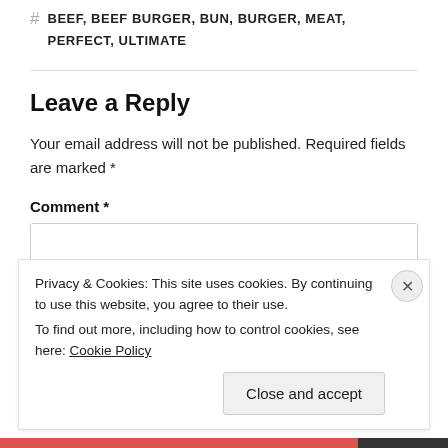# BEEF, BEEF BURGER, BUN, BURGER, MEAT, PERFECT, ULTIMATE
Leave a Reply
Your email address will not be published. Required fields are marked *
Comment *
Privacy & Cookies: This site uses cookies. By continuing to use this website, you agree to their use.
To find out more, including how to control cookies, see here: Cookie Policy
Close and accept